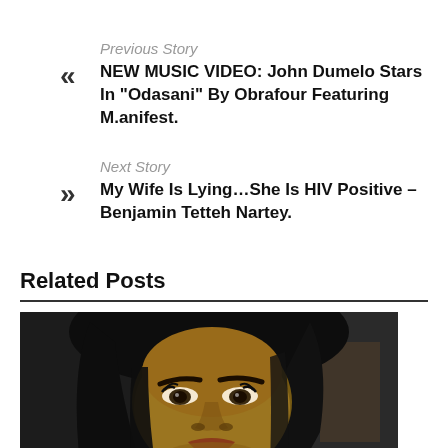Previous Story
NEW MUSIC VIDEO: John Dumelo Stars In “Odasani” By Obrafour Featuring M.anifest.
Next Story
My Wife Is Lying…She Is HIV Positive – Benjamin Tetteh Nartey.
Related Posts
[Figure (photo): Close-up photo of a woman with dark straight hair, looking toward the camera, taken in what appears to be a car interior.]